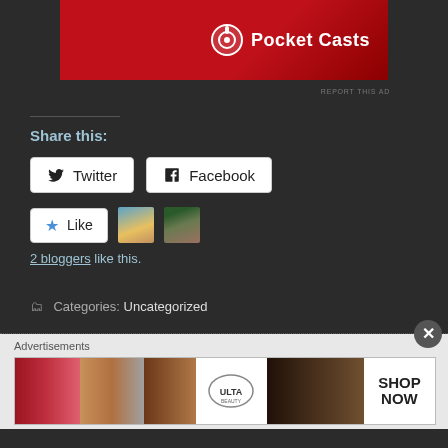[Figure (screenshot): Pocket Casts advertisement banner with red background and logo]
REPORT THIS AD
Share this:
[Figure (screenshot): Twitter and Facebook share buttons]
[Figure (screenshot): Like button with star icon and two blogger avatars]
2 bloggers like this.
Categories: Uncategorized
Advertisements
[Figure (screenshot): ULTA beauty advertisement banner with makeup imagery and SHOP NOW call to action]